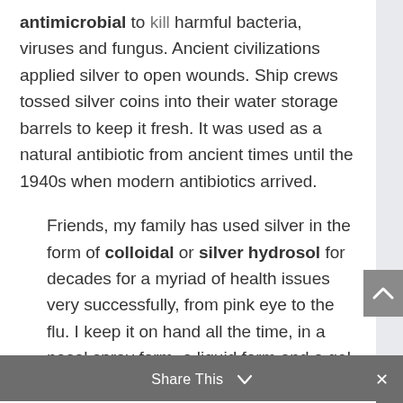antimicrobial to kill harmful bacteria, viruses and fungus. Ancient civilizations applied silver to open wounds. Ship crews tossed silver coins into their water storage barrels to keep it fresh. It was used as a natural antibiotic from ancient times until the 1940s when modern antibiotics arrived.
Friends, my family has used silver in the form of colloidal or silver hydrosol for decades for a myriad of health issues very successfully, from pink eye to the flu. I keep it on hand all the time, in a nasal spray form, a liquid form and a gel form (for cuts, etc.)
Share This ∨  ×
Colloidal silver is a liquid with a suspension of